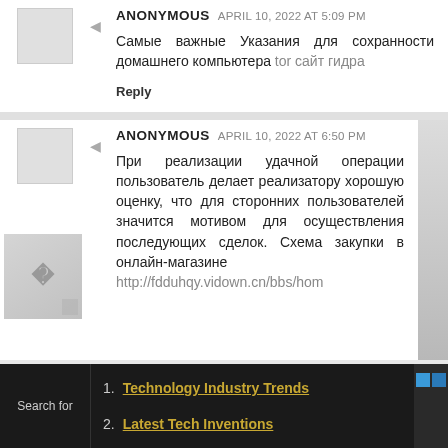ANONYMOUS  APRIL 10, 2022 AT 5:09 PM
Самые важные Указания для сохранности домашнего компьютера tor сайт гидра
Reply
ANONYMOUS  APRIL 10, 2022 AT 6:50 PM
При реализации удачной операции пользователь делает реализатору хорошую оценку, что для сторонних пользователей значится мотивом для осуществления последующих сделок. Схема закупки в онлайн-магазине http://fdduhqy.vidown.cn/bbs/hom
1. Technology Industry Trends
2. Latest Tech Inventions
Search for